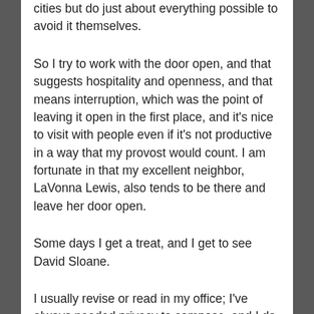cities but do just about everything possible to avoid it themselves.
So I try to work with the door open, and that suggests hospitality and openness, and that means interruption, which was the point of leaving it open in the first place, and it's nice to visit with people even if it's not productive in a way that my provost would count. I am fortunate in that my excellent neighbor, LaVonna Lewis, also tends to be there and leave her door open.
Some days I get a treat, and I get to see David Sloane.
I usually revise or read in my office; I've always needed privacy to compose, and I do get quite a bit done there in between interruptions. Today I am